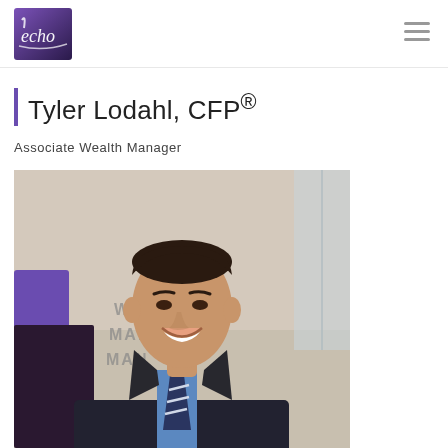[Figure (logo): Echo Wealth Management logo — purple/black square with stylized 'echo' script text in white]
Tyler Lodahl, CFP®
Associate Wealth Manager
[Figure (photo): Professional headshot of Tyler Lodahl, a young man in a dark pinstripe suit with a blue and white striped tie, smiling, with an office background showing partial 'Wealth Management' signage and a purple logo element]